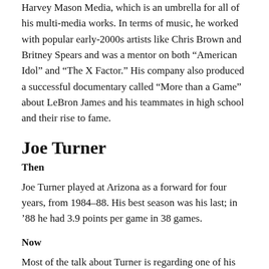Harvey Mason Media, which is an umbrella for all of his multi-media works. In terms of music, he worked with popular early-2000s artists like Chris Brown and Britney Spears and was a mentor on both “American Idol” and “The X Factor.” His company also produced a successful documentary called “More than a Game” about LeBron James and his teammates in high school and their rise to fame.
Joe Turner
Then
Joe Turner played at Arizona as a forward for four years, from 1984–88. His best season was his last; in ’88 he had 3.9 points per game in 38 games.
Now
Most of the talk about Turner is regarding one of his five kids, Jade. Jade is a redshirt junior for the Wildcats volleyball team. In an interview with the Daily Wildcat last season, she said her dad was a big reason for her being a Wildcat and being where she is